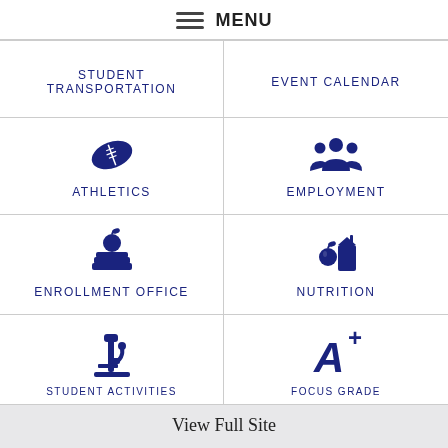MENU
STUDENT TRANSPORTATION
EVENT CALENDAR
[Figure (illustration): Dark navy football icon]
ATHLETICS
[Figure (illustration): Dark navy group of people / employment icon]
EMPLOYMENT
[Figure (illustration): Dark navy apple on books / enrollment office icon]
ENROLLMENT OFFICE
[Figure (illustration): Dark navy apple and milk carton / nutrition icon]
NUTRITION
[Figure (illustration): Dark navy microscope icon]
STUDENT ACTIVITIES
[Figure (illustration): Dark navy A+ grade icon]
FOCUS GRADE
View Full Site